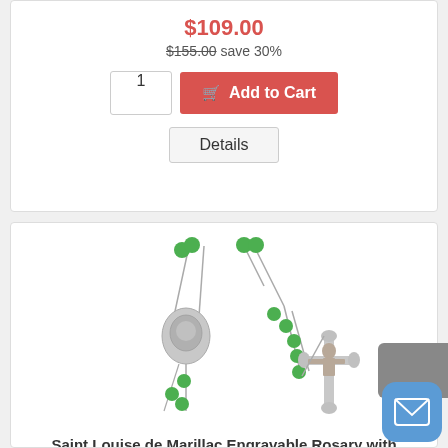$109.00
$155.00 save 30%
1  Add to Cart
Details
[Figure (photo): Rosary with green peridot beads and silver crucifix and saint medal — Saint Louise de Marillac Engravable Rosary with Peridot Beads]
Saint Louise de Marillac Engravable Rosary with Peridot Beads